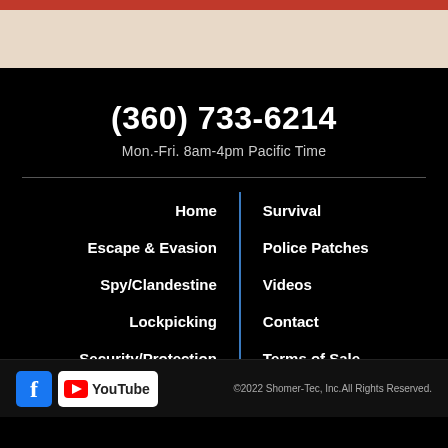(360) 733-6214
Mon.-Fri. 8am-4pm Pacific Time
Home
Survival
Escape & Evasion
Police Patches
Spy/Clandestine
Videos
Lockpicking
Contact
Security/Protection
Terms of Sale
©2022 Shomer-Tec, Inc.All Rights Reserved.